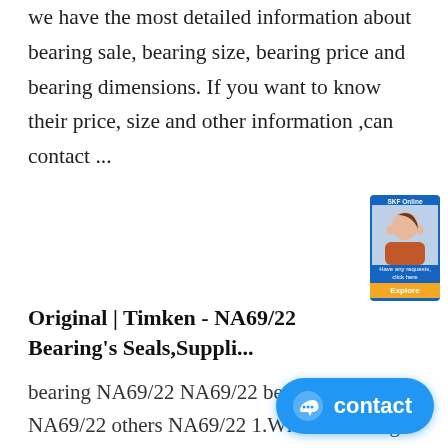we have the most detailed information about bearing sale, bearing size, bearing price and bearing dimensions. If you want to know their price, size and other information ,can contact ...
[Figure (photo): Customer service representative widget with woman wearing headset and a button/banner]
Original | Timken - NA69/22 Bearing's Seals,Suppli...
bearing NA69/22 NA69/22 bearings IKO NA69/22 others NA69/22 1.What is bearings bearing NA69/22 NA69/22 bearings IKO NA69/22 others NA69/22 Bearing is an important modern machinery and equipment components. NTN NA ...
SKF NA69/22 bearing, bearing dimensions-22mm*39mm ....
SKF NA69/22 Bearing is one of our m
[Figure (other): Blue contact button with chat icon and text 'contact']